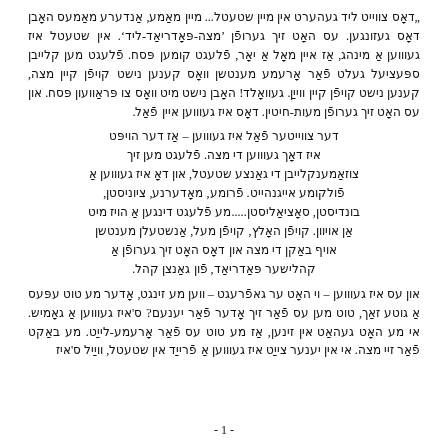„דאָס צווייט ליד געהערט אין מיין שטעטל... מיין מאַמע, אַנדערע מאַמעס האָבן דאָס געזונגען. עס האָט זיך גערופֿן 'מצה-פּאָדריאַד-ליד'. אין שטעטל איז געוווען אַ מינהג, אַז איין מאָל אַ יאָר, פֿלעגט קומען פּסח. פֿלעגט מען קלייבן ספּעציעל געלט פֿאַר אָרעמע מענטשן וואָס קענען נישט קויפֿן קיין מצה, קענען נישט קויפֿן קיין ווייַן. געוואָלד! האָבן נישט מיט וואָס צו פּראַוועון פּסח. און עס האָט זיך גערופֿן מעות-חיטין. דאָס איז געוווען איין פֿאַל.
דער צווייטער פֿאַל איז געוווען – אַז דער הויפּט איז דאָך געוווען די מצה. פֿלעגט מען זיך צוזאַמענקלייבן די גאַנצע שטעטל, און דאָ איז געוווען אַ פֿולקומע אייגנהייט. פֿרומע, מאָדערנע, ציוניסטן, בונדיסטן, סאָציאַליסטן.....מע פֿלעגט דינגען אַ הויז מיט אַן אויוון. קויפֿן האָלץ, קויפֿן מעל, אַנשטעלן מענטשן אויף באַקן די מצה און דאָס האָט זיך גערופֿן אַ קהלישער פּאַדריאַד, פֿון גאַנצן קהל.
און עס איז געוווען – וי האָט ער גאפֿרעגט – ווען מע זינגט, אָדער מע טוט עפּעס אַ גוטע זאַך, טוט מען עס פֿאַר זיך אָדער פֿאַר יענעם? ס'איז געוווען אַ גאָמיש. אי מע האָט געהאַט אין זינען, אַז מע טוט עס פֿאַר אָרעמע-לייַט. מע באַקט פֿאַר זיי מצה. אי אין יענער צייַט איז געוווען אַ פֿרייַד אין שטעטל, וויַיל ס'איז
- 1 -